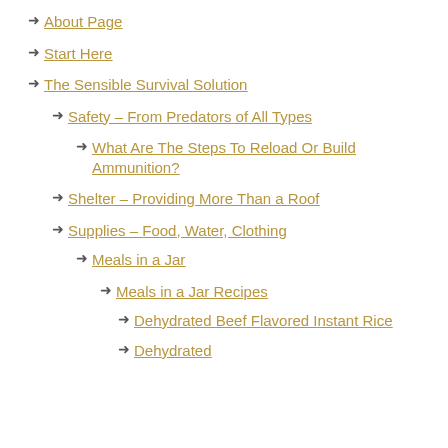About Page
Start Here
The Sensible Survival Solution
Safety – From Predators of All Types
What Are The Steps To Reload Or Build Ammunition?
Shelter – Providing More Than a Roof
Supplies – Food, Water, Clothing
Meals in a Jar
Meals in a Jar Recipes
Dehydrated Beef Flavored Instant Rice
Dehydrated